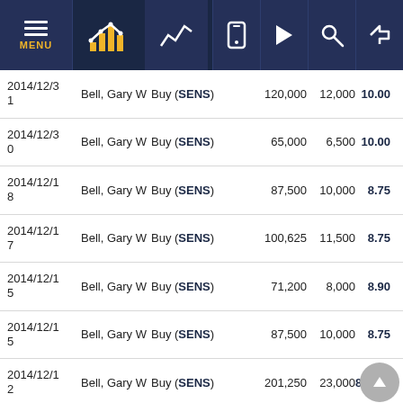Navigation bar with MENU, chart icons, and action icons
| Date | Name | Action | Amount | Shares | Price |
| --- | --- | --- | --- | --- | --- |
| 2014/12/31 | Bell, Gary W | Buy (SENS) | 120,000 | 12,000 | 10.00 |
| 2014/12/30 | Bell, Gary W | Buy (SENS) | 65,000 | 6,500 | 10.00 |
| 2014/12/18 | Bell, Gary W | Buy (SENS) | 87,500 | 10,000 | 8.75 |
| 2014/12/17 | Bell, Gary W | Buy (SENS) | 100,625 | 11,500 | 8.75 |
| 2014/12/15 | Bell, Gary W | Buy (SENS) | 71,200 | 8,000 | 8.90 |
| 2014/12/15 | Bell, Gary W | Buy (SENS) | 87,500 | 10,000 | 8.75 |
| 2014/12/12 | Bell, Gary W | Buy (SENS) | 201,250 | 23,000 | 8.75 |
| 2014/12/11 | Bell, Gary W | Buy (SENS) | 85,405 | 9,500 | 8.99 |